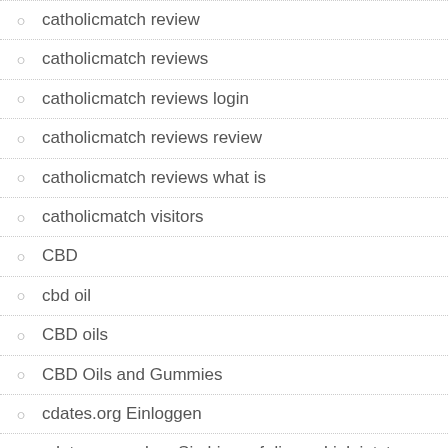catholicmatch review
catholicmatch reviews
catholicmatch reviews login
catholicmatch reviews review
catholicmatch reviews what is
catholicmatch visitors
CBD
cbd oil
CBD oils
CBD Oils and Gummies
cdates.org Einloggen
cdates.org gehen Sie hier auf diesen Link jetzt